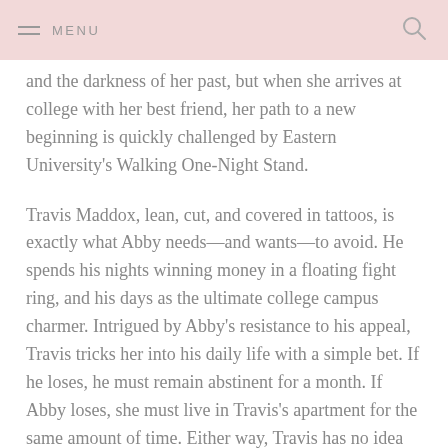MENU
and the darkness of her past, but when she arrives at college with her best friend, her path to a new beginning is quickly challenged by Eastern University's Walking One-Night Stand.
Travis Maddox, lean, cut, and covered in tattoos, is exactly what Abby needs—and wants—to avoid. He spends his nights winning money in a floating fight ring, and his days as the ultimate college campus charmer. Intrigued by Abby's resistance to his appeal, Travis tricks her into his daily life with a simple bet. If he loses, he must remain abstinent for a month. If Abby loses, she must live in Travis's apartment for the same amount of time. Either way, Travis has no idea